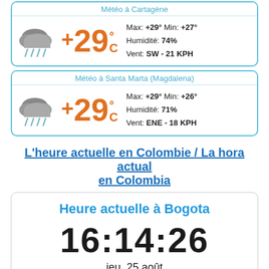Météo à Cartagène
+29°C  Max: +29° Min: +27°  Humidité: 74%  Vent: SW - 21 KPH
Météo à Santa Marta (Magdalena)
+29°C  Max: +29° Min: +26°  Humidité: 71%  Vent: ENE - 18 KPH
L'heure actuelle en Colombie / La hora actual en Colombia
Heure actuelle à Bogota
16:14:26
jeu. 25 août